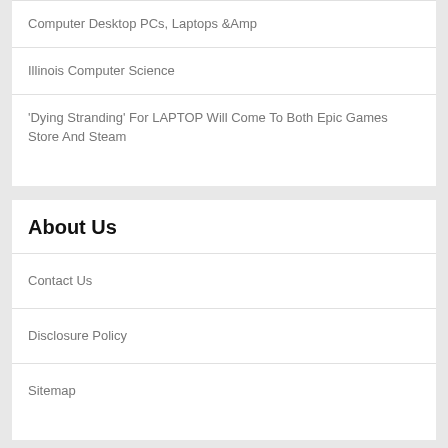Computer Desktop PCs, Laptops &Amp
Illinois Computer Science
'Dying Stranding' For LAPTOP Will Come To Both Epic Games Store And Steam
About Us
Contact Us
Disclosure Policy
Sitemap
August 2022